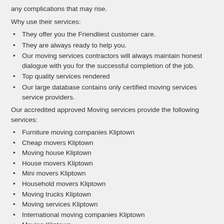any complications that may rise.
Why use their services:
They offer you the Friendliest customer care.
They are always ready to help you.
Our moving services contractors will always maintain honest dialogue with you for the successful completion of the job.
Top quality services rendered
Our large database contains only certified moving services service providers.
Our accredited approved Moving services provide the following services:
Furniture moving companies Kliptown
Cheap movers Kliptown
Moving house Kliptown
House movers Kliptown
Mini movers Kliptown
Household movers Kliptown
Moving trucks Kliptown
Moving services Kliptown
International moving companies Kliptown
Moving Kliptown
Furniture moving company Kliptown
Moving household goods Kliptown
Moving companies Kliptown
Moving services Kliptown